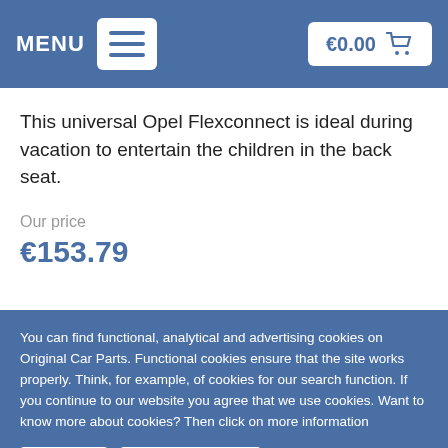MENU  €0.00
This universal Opel Flexconnect is ideal during vacation to entertain the children in the back seat.
Our price
€153.79
You can find functional, analytical and advertising cookies on Original Car Parts. Functional cookies ensure that the site works properly. Think, for example, of cookies for our search function. If you continue to our website you agree that we use cookies. Want to know more about cookies? Then click on more information
✔ Close  More information